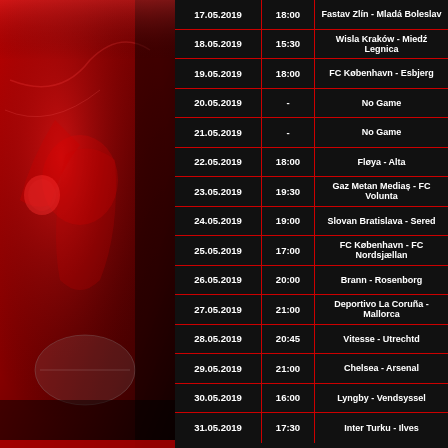[Figure (photo): Sports action photo of rugby/boxing player in red and white, with a ball, on a red gradient background]
| Date | Time | Match |
| --- | --- | --- |
| 17.05.2019 | 18:00 | Fastav Zlín - Mladá Boleslav |
| 18.05.2019 | 15:30 | Wisla Kraków - Miedź Legnica |
| 19.05.2019 | 18:00 | FC København - Esbjerg |
| 20.05.2019 | - | No Game |
| 21.05.2019 | - | No Game |
| 22.05.2019 | 18:00 | Fløya - Alta |
| 23.05.2019 | 19:30 | Gaz Metan Mediaș - FC Voluntari |
| 24.05.2019 | 19:00 | Slovan Bratislava - Sered |
| 25.05.2019 | 17:00 | FC København - FC Nordsjælland |
| 26.05.2019 | 20:00 | Brann - Rosenborg |
| 27.05.2019 | 21:00 | Deportivo La Coruña - Mallorca |
| 28.05.2019 | 20:45 | Vitesse - Utrechtd |
| 29.05.2019 | 21:00 | Chelsea - Arsenal |
| 30.05.2019 | 16:00 | Lyngby - Vendsyssel |
| 31.05.2019 | 17:30 | Inter Turku - Ilves |